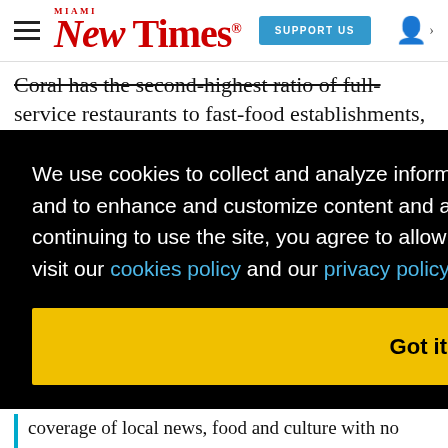Miami New Times — SUPPORT US — [user icon]
Coral has the second-highest ratio of full-service restaurants to fast-food establishments, while Pembroke Pines comes in at 128th in craft ... rt St.
We use cookies to collect and analyze information on site performance and usage, and to enhance and customize content and advertisements. By clicking 'Got it' or continuing to use the site, you agree to allow cookies to be placed. To find out more, visit our cookies policy and our privacy policy.
Got it!
coverage of local news, food and culture with no